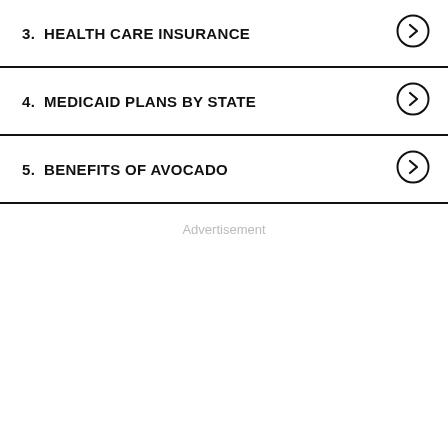3.  HEALTH CARE INSURANCE
4.  MEDICAID PLANS BY STATE
5.  BENEFITS OF AVOCADO
Advertisement